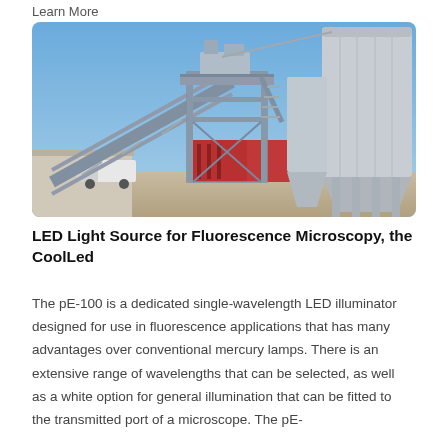Learn More
[Figure (photo): Industrial concrete batching plant with a large metal silo tower structure, conveyor belt, and scaffolding against a clear blue sky. Red shipping containers visible in the background along with a white truck.]
LED Light Source for Fluorescence Microscopy, the CoolLed
The pE-100 is a dedicated single-wavelength LED illuminator designed for use in fluorescence applications that has many advantages over conventional mercury lamps. There is an extensive range of wavelengths that can be selected, as well as a white option for general illumination that can be fitted to the transmitted port of a microscope. The pE-